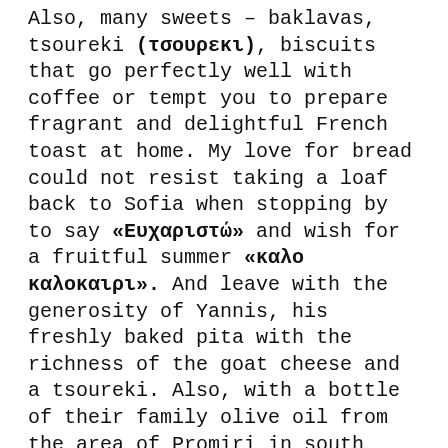Also, many sweets – baklavas, tsoureki (τσουρεκι), biscuits that go perfectly well with coffee or tempt you to prepare fragrant and delightful French toast at home. My love for bread could not resist taking a loaf back to Sofia when stopping by to say «Ευχαριστώ» and wish for a fruitful summer «καλο καλοκαιρι». And leave with the generosity of Yannis, his freshly baked pita with the richness of the goat cheese and a tsoureki. Also, with a bottle of their family olive oil from the area of Promiri in south Pelion. We laughed to my words that if staying for another month we would turn well rounded with all this inviting deliciousness. Happy, genuine, sincere moments that I appreciated so much, keeping a shining star in my thoughts forever!
It's absolutely stunning how olive oil is an unconditional partner to all the food in the area.